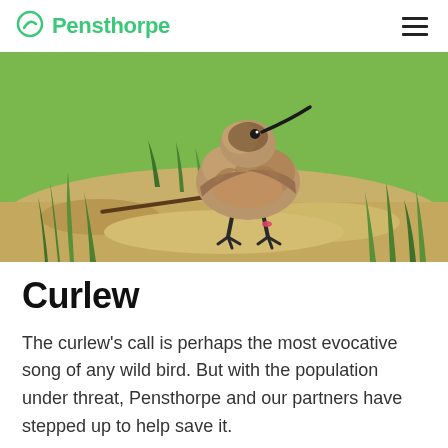Pensthorpe
[Figure (photo): Close-up photograph of a young curlew chick standing on sandy ground with grass. The chick has fluffy brown plumage, long dark legs, and a small curved beak. A pink ring/band is visible on one of its legs.]
Curlew
The curlew's call is perhaps the most evocative song of any wild bird. But with the population under threat, Pensthorpe and our partners have stepped up to help save it.